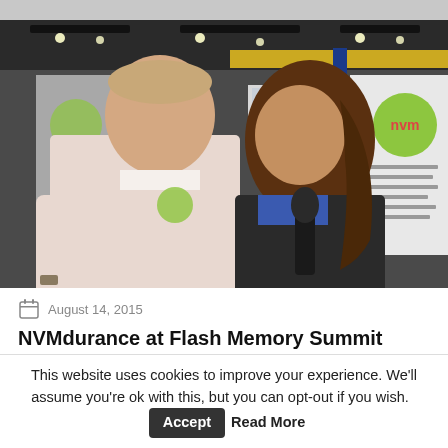[Figure (photo): Two people standing at a trade show booth with NVMdurance branding. A tall man in a white shirt on the left and a woman holding a microphone on the right. Trade show banners and displays visible in the background.]
August 14, 2015
NVMdurance at Flash Memory Summit 2015 – Video
This website uses cookies to improve your experience. We'll assume you're ok with this, but you can opt-out if you wish.  Accept  Read More